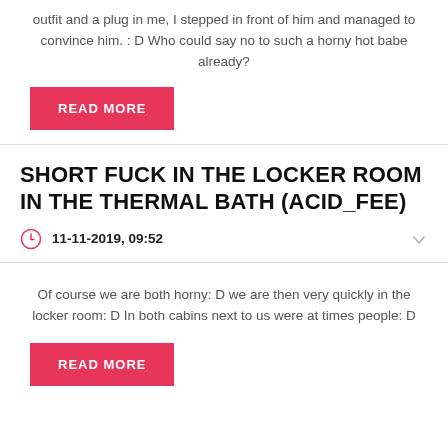outfit and a plug in me, I stepped in front of him and managed to convince him. : D Who could say no to such a horny hot babe already?
READ MORE
SHORT FUCK IN THE LOCKER ROOM IN THE THERMAL BATH (ACID_FEE)
11-11-2019, 09:52
Of course we are both horny: D we are then very quickly in the locker room: D In both cabins next to us were at times people: D
READ MORE